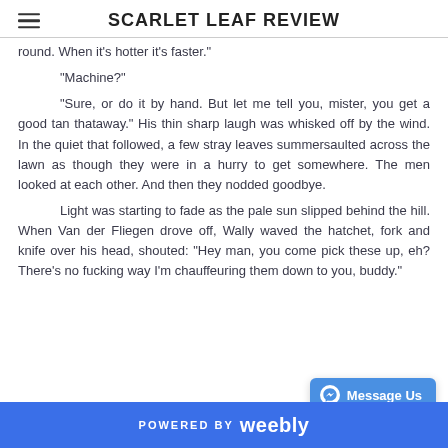SCARLET LEAF REVIEW
round. When it's hotter it's faster."
“Machine?”
“Sure, or do it by hand. But let me tell you, mister, you get a good tan thataway.” His thin sharp laugh was whisked off by the wind. In the quiet that followed, a few stray leaves summersaulted across the lawn as though they were in a hurry to get somewhere. The men looked at each other. And then they nodded goodbye.
 Light was starting to fade as the pale sun slipped behind the hill. When Van der Fliegen drove off, Wally waved the hatchet, fork and knife over his head, shouted: "Hey man, you come pick these up, eh? There’s no fucking way I’m chauffeuring them down to you, buddy."
POWERED BY weebly